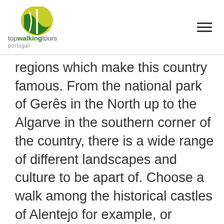topwalkingtours portugal
regions which make this country famous. From the national park of Gerês in the North up to the Algarve in the southern corner of the country, there is a wide range of different landscapes and culture to be apart of. Choose a walk among the historical castles of Alentejo for example, or venture yourself through the wine bastion of Portugal in Douro, or simply depart on a spiritual journey to Santiago de Compostela, whatever you choose, you